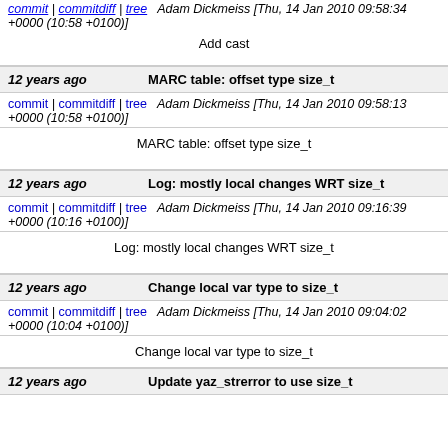commit | commitdiff | tree   Adam Dickmeiss [Thu, 14 Jan 2010 09:58:34 +0000 (10:58 +0100)]
Add cast
12 years ago   MARC table: offset type size_t
commit | commitdiff | tree   Adam Dickmeiss [Thu, 14 Jan 2010 09:58:13 +0000 (10:58 +0100)]
MARC table: offset type size_t
12 years ago   Log: mostly local changes WRT size_t
commit | commitdiff | tree   Adam Dickmeiss [Thu, 14 Jan 2010 09:16:39 +0000 (10:16 +0100)]
Log: mostly local changes WRT size_t
12 years ago   Change local var type to size_t
commit | commitdiff | tree   Adam Dickmeiss [Thu, 14 Jan 2010 09:04:02 +0000 (10:04 +0100)]
Change local var type to size_t
12 years ago   Update yaz_strerror to use size_t